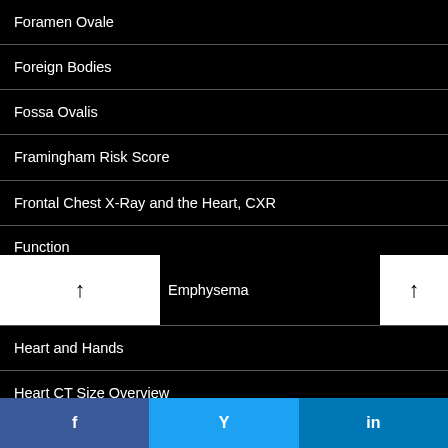Foramen Ovale
Foreign Bodies
Fossa Ovalis
Framingham Risk Score
Frontal Chest X-Ray and the Heart, CXR
Function
Emphysema
Heart and Hands
Heart CT Size Overview
Heart Failure
Heart Failure with Preserved Ejection Fraction – Diastolic Heart Failure
f  y  in